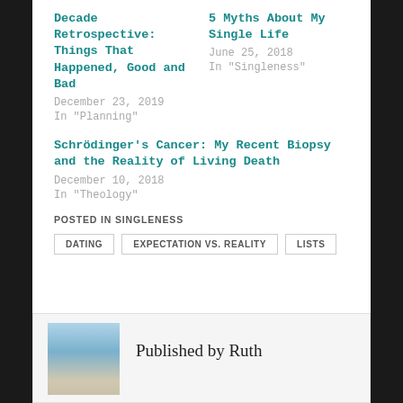Decade Retrospective: Things That Happened, Good and Bad
December 23, 2019
In "Planning"
5 Myths About My Single Life
June 25, 2018
In "Singleness"
Schrödinger's Cancer: My Recent Biopsy and the Reality of Living Death
December 10, 2018
In "Theology"
POSTED IN SINGLENESS
DATING
EXPECTATION VS. REALITY
LISTS
Published by Ruth